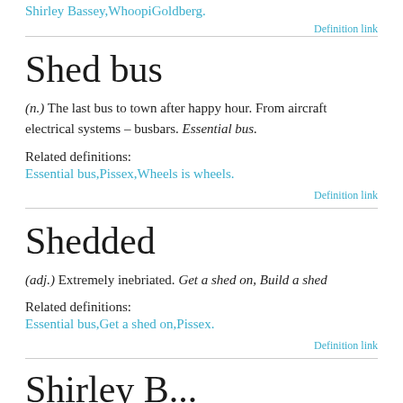Shirley Bassey,WhoopiGoldberg.
Definition link
Shed bus
(n.) The last bus to town after happy hour. From aircraft electrical systems – busbars. Essential bus.
Related definitions:
Essential bus,Pissex,Wheels is wheels.
Definition link
Shedded
(adj.) Extremely inebriated. Get a shed on, Build a shed
Related definitions:
Essential bus,Get a shed on,Pissex.
Definition link
Shirley B...